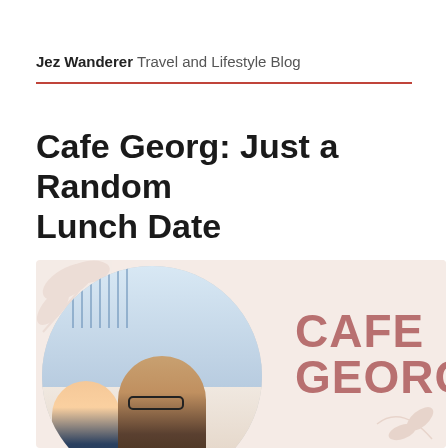Jez Wanderer Travel and Lifestyle Blog
Cafe Georg: Just a Random Lunch Date
[Figure (photo): Featured image for the blog post showing two people at Cafe Georg, with the text CAFE GEORG displayed on the right side against a pink/beige background with floral decorations]